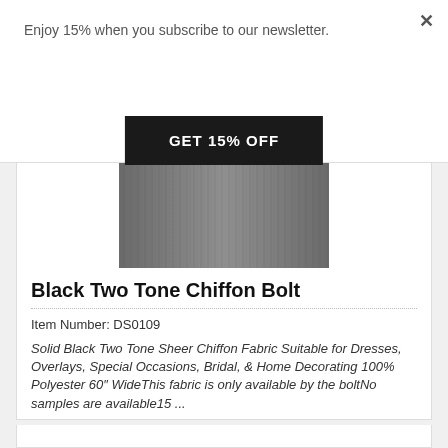Enjoy 15% when you subscribe to our newsletter.
GET 15% OFF
[Figure (photo): Swatch of black/gray two-tone chiffon fabric with vertical texture lines]
Black Two Tone Chiffon Bolt
Item Number: DS0109
Solid Black Two Tone Sheer Chiffon Fabric Suitable for Dresses, Overlays, Special Occasions, Bridal, & Home Decorating 100% Polyester 60" WideThis fabric is only available by the boltNo samples are available15 ...
Sale: $57.65 / Each
Original Price: $64.05
You Save: $6.40